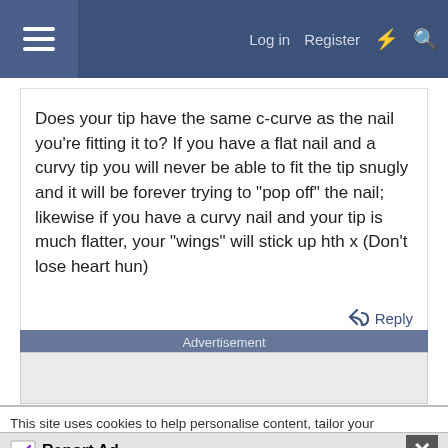☰  Log in  Register  ⚡  🔍
Does your tip have the same c-curve as the nail you're fitting it to? If you have a flat nail and a curvy tip you will never be able to fit the tip snugly and it will be forever trying to "pop off" the nail; likewise if you have a curvy nail and your tip is much flatter, your "wings" will stick up hth x (Don't lose heart hun)
↩ Reply
Advertisement
This site uses cookies to help personalise content, tailor your experience and to
✓ Report Ad  ✕